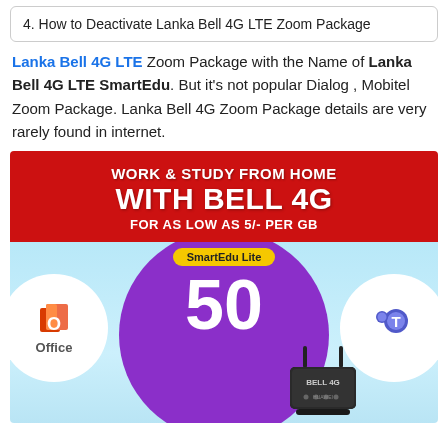4. How to Deactivate Lanka Bell 4G LTE Zoom Package
Lanka Bell 4G LTE Zoom Package with the Name of Lanka Bell 4G LTE SmartEdu. But it's not popular Dialog , Mobitel Zoom Package. Lanka Bell 4G Zoom Package details are very rarely found in internet.
[Figure (infographic): Lanka Bell 4G advertisement showing 'WORK & STUDY FROM HOME WITH BELL 4G FOR AS LOW AS 5/- PER GB' on a red banner, with a light blue lower section showing a large purple circle with 'SmartEdu Lite' label and '50' in large white text, a left white circle with Microsoft Office logo, a right white circle with Microsoft Teams logo, and a Bell 4G router device in the lower right.]